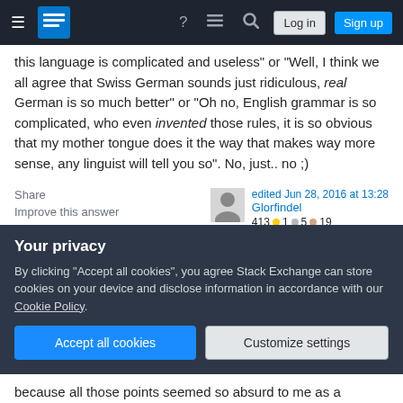Stack Exchange navigation bar with Log in and Sign up buttons
this language is complicated and useless" or "Well, I think we all agree that Swiss German sounds just ridiculous, real German is so much better" or "Oh no, English grammar is so complicated, who even invented those rules, it is so obvious that my mother tongue does it the way that makes way more sense, any linguist will tell you so". No, just.. no ;)
Share   Improve this answer   Follow   edited Jun 28, 2016 at 13:28   Glorfindel   413 ●1 ●5 ●19
Your privacy
By clicking "Accept all cookies", you agree Stack Exchange can store cookies on your device and disclose information in accordance with our Cookie Policy.
because all those points seemed so absurd to me as a